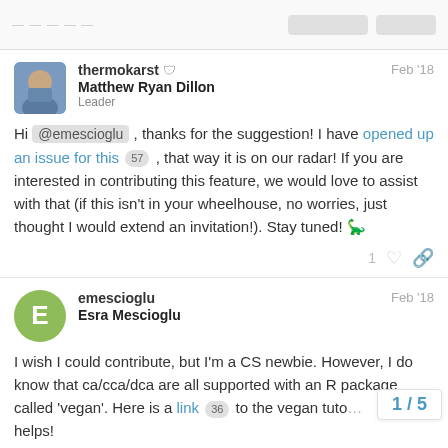thermokarst  Matthew Ryan Dillon  Leader  Feb '18
Hi @emescioglu , thanks for the suggestion! I have opened up an issue for this 57 , that way it is on our radar! If you are interested in contributing this feature, we would love to assist with that (if this isn't in your wheelhouse, no worries, just thought I would extend an invitation!). Stay tuned! 🦕
emescioglu  Esra Mescioglu  Feb '18
I wish I could contribute, but I'm a CS newbie. However, I do know that ca/cca/dca are all supported with an R package called 'vegan'. Here is a link 36 to the vegan tuto... helps!